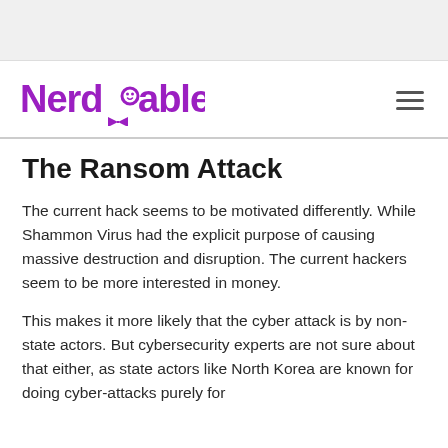[Figure (logo): Nerdable logo in purple with a bowtie icon beneath the letter d]
The Ransom Attack
The current hack seems to be motivated differently. While Shammon Virus had the explicit purpose of causing massive destruction and disruption. The current hackers seem to be more interested in money.
This makes it more likely that the cyber attack is by non-state actors. But cybersecurity experts are not sure about that either, as state actors like North Korea are known for doing cyber-attacks purely for